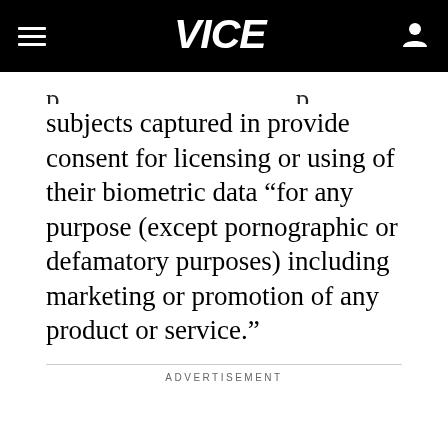VICE
subjects captured in provide consent for licensing or using of their biometric data “for any purpose (except pornographic or defamatory purposes) including marketing or promotion of any product or service.”
ADVERTISEMENT
[Figure (other): Broken/placeholder image icon representing an advertisement area]